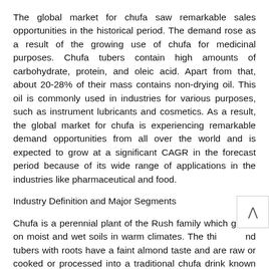The global market for chufa saw remarkable sales opportunities in the historical period. The demand rose as a result of the growing use of chufa for medicinal purposes. Chufa tubers contain high amounts of carbohydrate, protein, and oleic acid. Apart from that, about 20-28% of their mass contains non-drying oil. This oil is commonly used in industries for various purposes, such as instrument lubricants and cosmetics. As a result, the global market for chufa is experiencing remarkable demand opportunities from all over the world and is expected to grow at a significant CAGR in the forecast period because of its wide range of applications in the industries like pharmaceutical and food.
Industry Definition and Major Segments
Chufa is a perennial plant of the Rush family which grows on moist and wet soils in warm climates. The thin nd tubers with roots have a faint almond taste and are raw or cooked or processed into a traditional chufa drink known as